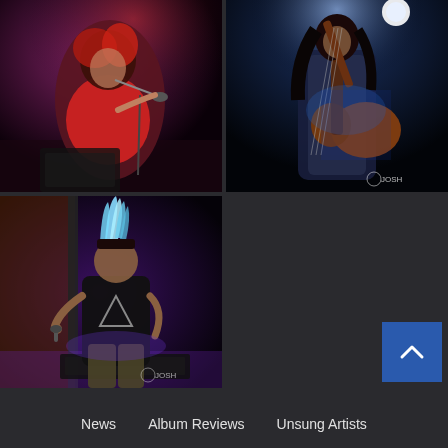[Figure (photo): Concert photo: female singer with red hair leaning into microphone on stage, red top, dark background with purple lighting]
[Figure (photo): Concert photo: guitarist with long dark hair playing electric guitar on stage, blue lighting, watermark 'JOSH' visible]
[Figure (photo): Concert photo: male performer with spiked blue/white mohawk singing into microphone, black t-shirt with triangle logo, purple stage lighting, watermark 'JOSH' visible]
News   Album Reviews   Unsung Artists